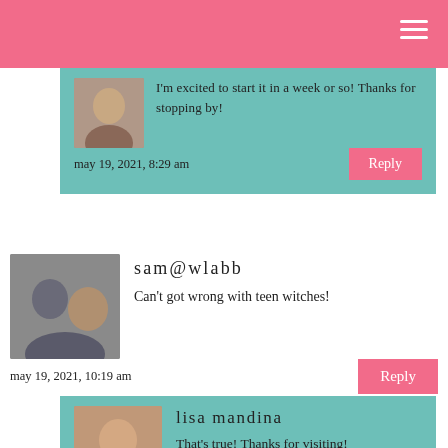I'm excited to start it in a week or so! Thanks for stopping by!
may 19, 2021, 8:29 am
sam@wlabb
Can't got wrong with teen witches!
may 19, 2021, 10:19 am
lisa mandina
That's true! Thanks for visiting!
may 19, 2021, 10:41 am